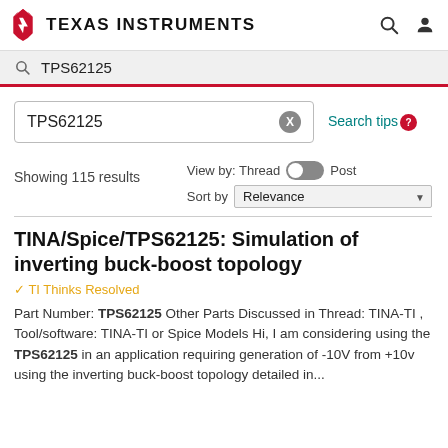Texas Instruments
TPS62125
TPS62125  X   Search tips
Showing 115 results  View by: Thread  Post  Sort by Relevance
TINA/Spice/TPS62125: Simulation of inverting buck-boost topology
✓ TI Thinks Resolved
Part Number: TPS62125 Other Parts Discussed in Thread: TINA-TI , Tool/software: TINA-TI or Spice Models Hi, I am considering using the TPS62125 in an application requiring generation of -10V from +10v using the inverting buck-boost topology detailed in...